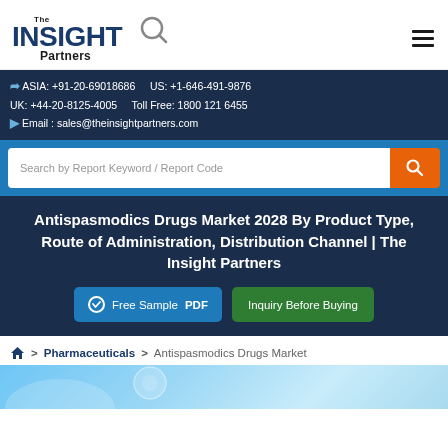[Figure (logo): The Insight Partners logo with magnifying glass icon]
ASIA: +91-20-69018686   US: +1-646-491-9876
UK: +44-20-8125-4005   Toll Free: 1800 121 6455
Email : sales@theinsightpartners.com
Search by Report Keyword / Report Code
Antispasmodics Drugs Market 2028 By Product Type, Route of Administration, Distribution Channel | The Insight Partners
Free Sample PDF
Inquiry Before Buying
> Pharmaceuticals > Antispasmodics Drugs Market
[Figure (photo): Partial image of antispasmodics drugs related photo in blue tones]